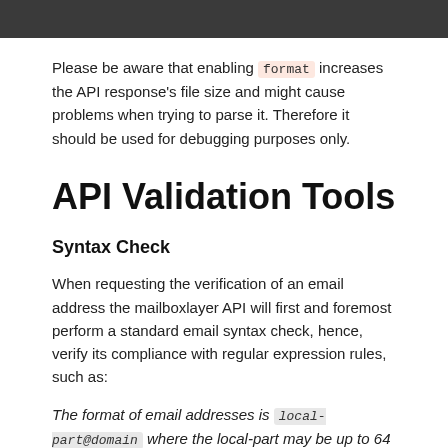[Figure (other): Dark gray header bar at top of page]
Please be aware that enabling format increases the API response's file size and might cause problems when trying to parse it. Therefore it should be used for debugging purposes only.
API Validation Tools
Syntax Check
When requesting the verification of an email address the mailboxlayer API will first and foremost perform a standard email syntax check, hence, verify its compliance with regular expression rules, such as:
The format of email addresses is local-part@domain where the local-part may be up to 64 characters long and the domain name may have a maximum of 253 characters. The formal definitions are in RFC 5322 and RFC 5321 – with a more readable form given in the informational RFC 3696